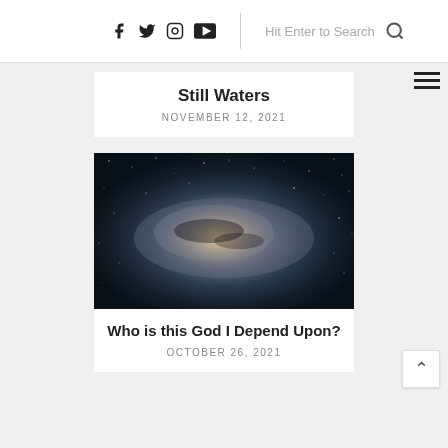Social icons: Facebook, Twitter, Instagram, YouTube | Search: Hit Enter to Search | Hamburger menu
Still Waters
NOVEMBER 12, 2021
[Figure (photo): Night sky photograph showing the Milky Way galaxy with stars and cosmic nebula clouds against a dark background]
Who is this God I Depend Upon?
OCTOBER 26, 2021